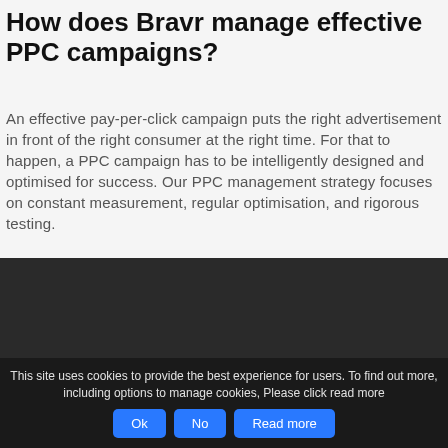How does Bravr manage effective PPC campaigns?
An effective pay-per-click campaign puts the right advertisement in front of the right consumer at the right time. For that to happen, a PPC campaign has to be intelligently designed and optimised for success. Our PPC management strategy focuses on constant measurement, regular optimisation, and rigorous testing.
[Figure (other): Dark/black rectangle section, appears to be a video or image placeholder with dark background]
This site uses cookies to provide the best experience for users. To find out more, including options to manage cookies, Please click read more